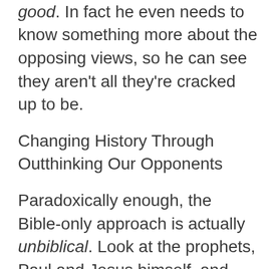to know that it's true and that it's good. In fact he even needs to know something more about the opposing views, so he can see they aren't all they're cracked up to be.
Changing History Through Outthinking Our Opponents
Paradoxically enough, the Bible-only approach is actually unbiblical. Look at the prophets, Paul and Jesus himself, and you'll see how well they knew the characteristic sins and errors or their day. It formed the